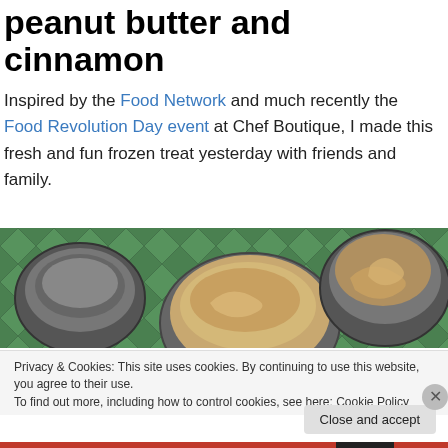peanut butter and cinnamon
Inspired by the Food Network and much recently the Food Revolution Day event at Chef Boutique, I made this fresh and fun frozen treat yesterday with friends and family.
[Figure (photo): Three metal bowls containing what appears to be ice cream or frozen dessert with peanut butter and cinnamon, set on a green diamond-patterned surface.]
Privacy & Cookies: This site uses cookies. By continuing to use this website, you agree to their use.
To find out more, including how to control cookies, see here: Cookie Policy